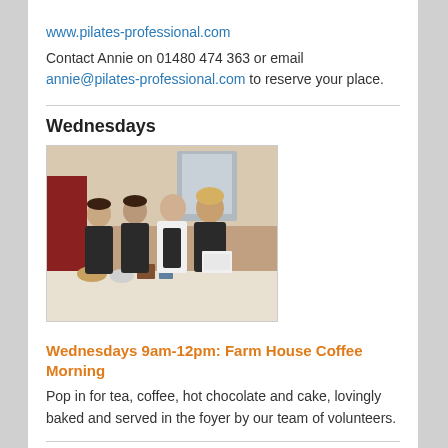www.pilates-professional.com
Contact Annie on 01480 474 363 or email annie@pilates-professional.com to reserve your place.
Wednesdays
[Figure (photo): Four people wearing dark aprons standing behind a counter in what appears to be a cafe or kitchen setting.]
Wednesdays 9am-12pm: Farm House Coffee Morning
Pop in for tea, coffee, hot chocolate and cake, lovingly baked and served in the foyer by our team of volunteers.
[Figure (photo): Colorful illustration visible at bottom of page, partially cropped.]